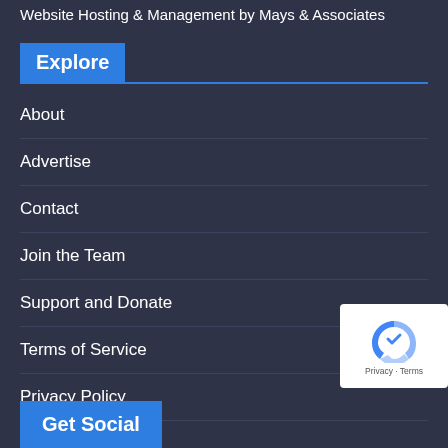Website Hosting & Management by Mays & Associates
Explore
About
Advertise
Contact
Join the Team
Support and Donate
Terms of Service
Privacy Policy
Comment Policy
[Figure (logo): reCAPTCHA badge with Privacy and Terms links]
Get Social